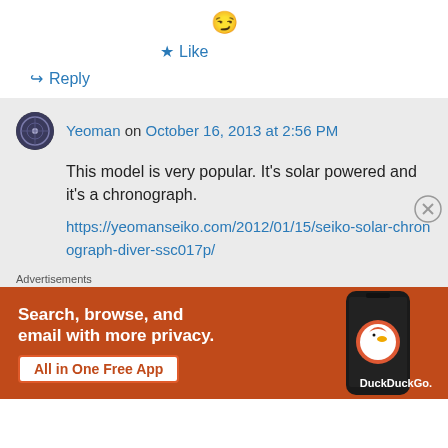😏
★ Like
↪ Reply
Yeoman on October 16, 2013 at 2:56 PM
This model is very popular. It's solar powered and it's a chronograph.
https://yeomanseiko.com/2012/01/15/seiko-solar-chronograph-diver-ssc017p/
Advertisements
[Figure (infographic): DuckDuckGo advertisement banner: orange background with text 'Search, browse, and email with more privacy. All in One Free App' and DuckDuckGo logo with phone graphic on the right.]